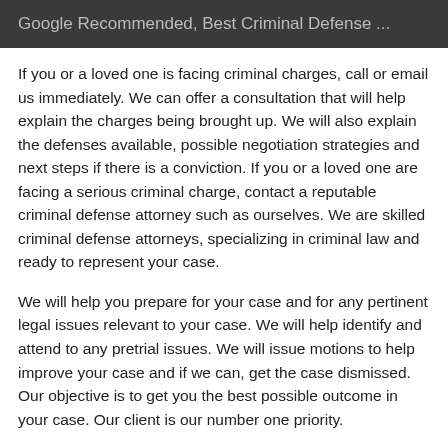Google Recommended, Best Criminal Defense ...
If you or a loved one is facing criminal charges, call or email us immediately. We can offer a consultation that will help explain the charges being brought up. We will also explain the defenses available, possible negotiation strategies and next steps if there is a conviction. If you or a loved one are facing a serious criminal charge, contact a reputable criminal defense attorney such as ourselves. We are skilled criminal defense attorneys, specializing in criminal law and ready to represent your case.
We will help you prepare for your case and for any pertinent legal issues relevant to your case. We will help identify and attend to any pretrial issues. We will issue motions to help improve your case and if we can, get the case dismissed. Our objective is to get you the best possible outcome in your case. Our client is our number one priority.